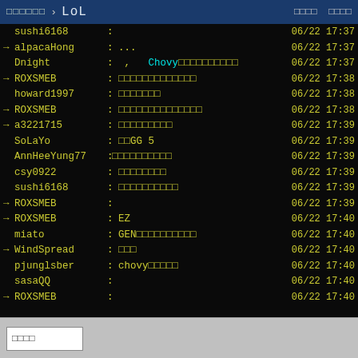□□□□□□ › LoL  □□□□ □□□□
| arrow | username | colon | message | timestamp |
| --- | --- | --- | --- | --- |
|  | sushi6168 | : |  | 06/22 17:37 |
| → | alpacaHong | : | ... | 06/22 17:37 |
|  | Dnight | : |  ,   Chovy□□□□□□□□□□ | 06/22 17:37 |
| → | ROXSMEB | : | □□□□□□□□□□□□□ | 06/22 17:38 |
|  | howard1997 | : | □□□□□□□ | 06/22 17:38 |
| → | ROXSMEB | : | □□□□□□□□□□□□□□ | 06/22 17:38 |
| → | a3221715 | : | □□□□□□□□□ | 06/22 17:39 |
|  | SoLaYo | : | □□GG 5 | 06/22 17:39 |
|  | AnnHeeYung77 | : | □□□□□□□□□□ | 06/22 17:39 |
|  | csy0922 | : | □□□□□□□□ | 06/22 17:39 |
|  | sushi6168 | : | □□□□□□□□□□ | 06/22 17:39 |
| → | ROXSMEB | : |  | 06/22 17:39 |
| → | ROXSMEB | : | EZ | 06/22 17:40 |
|  | miato | : | GEN□□□□□□□□□□ | 06/22 17:40 |
| → | WindSpread | : | □□□ | 06/22 17:40 |
|  | pjunglsber | : | chovy□□□□□ | 06/22 17:40 |
|  | sasaQQ | : |  | 06/22 17:40 |
| → | ROXSMEB | : |  | 06/22 17:40 |
□□□□